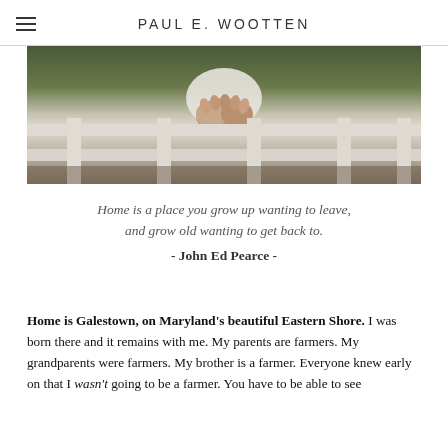PAUL E. WOOTTEN
[Figure (photo): Close-up photograph of a person's clasped hands resting on a white wooden fence railing, with green foliage in the background.]
Home is a place you grow up wanting to leave, and grow old wanting to get back to.
- John Ed Pearce -
Home is Galestown, on Maryland's beautiful Eastern Shore. I was born there and it remains with me. My parents are farmers. My grandparents were farmers. My brother is a farmer. Everyone knew early on that I wasn't going to be a farmer. You have to be able to see